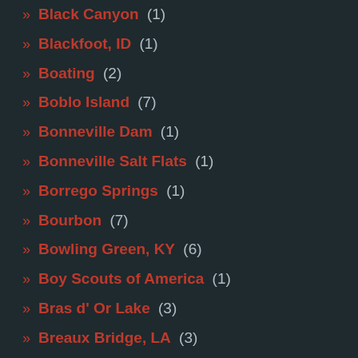Black Canyon (1)
Blackfoot, ID (1)
Boating (2)
Boblo Island (7)
Bonneville Dam (1)
Bonneville Salt Flats (1)
Borrego Springs (1)
Bourbon (7)
Bowling Green, KY (6)
Boy Scouts of America (1)
Bras d' Or Lake (3)
Breaux Bridge, LA (3)
Brewery (3)
Bridge (11)
Bridge of the Gods (1)